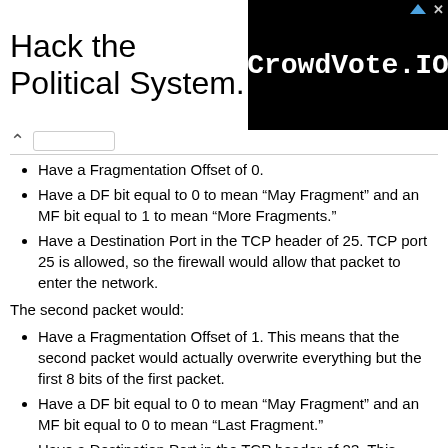[Figure (other): Advertisement banner: 'Hack the Political System.' text on left, black box with 'CrowdVote.IO' on right]
Have a Fragmentation Offset of 0.
Have a DF bit equal to 0 to mean “May Fragment” and an MF bit equal to 1 to mean “More Fragments.”
Have a Destination Port in the TCP header of 25. TCP port 25 is allowed, so the firewall would allow that packet to enter the network.
The second packet would:
Have a Fragmentation Offset of 1. This means that the second packet would actually overwrite everything but the first 8 bits of the first packet.
Have a DF bit equal to 0 to mean “May Fragment” and an MF bit equal to 0 to mean “Last Fragment.”
Have a Destination Port in the TCP header of 23. This would normally be blocked, but will not be in this case!
The packet filtering firewall will see that the Fragment Offset is greater than zero on the second packet. From